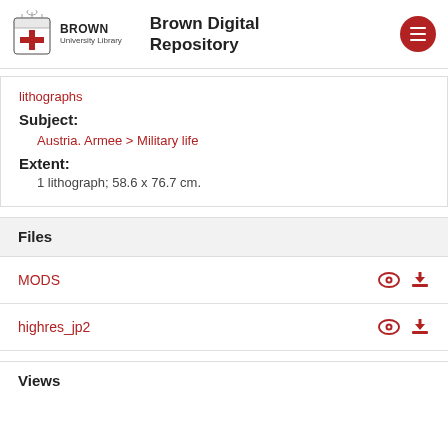Brown Digital Repository
lithographs
Subject:
Austria. Armee > Military life
Extent:
1 lithograph; 58.6 x 76.7 cm.
Files
MODS
highres_jp2
Views